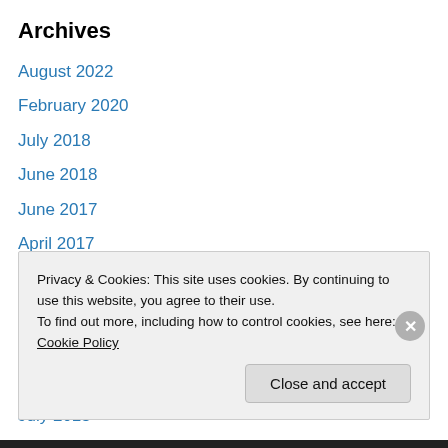Archives
August 2022
February 2020
July 2018
June 2018
June 2017
April 2017
November 2016
November 2015
September 2015
August 2015
July 2015
May 2015
Privacy & Cookies: This site uses cookies. By continuing to use this website, you agree to their use.
To find out more, including how to control cookies, see here: Cookie Policy
Close and accept